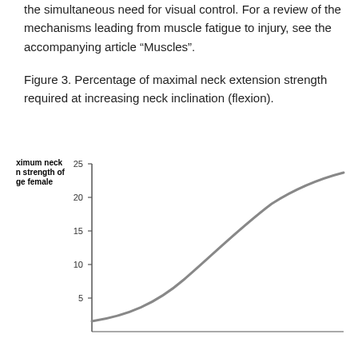the simultaneous need for visual control. For a review of the mechanisms leading from muscle fatigue to injury, see the accompanying article “Muscles”.
Figure 3. Percentage of maximal neck extension strength required at increasing neck inclination (flexion).
[Figure (continuous-plot): Line chart showing percentage of maximum neck extension strength of average female (y-axis, 5 to 25) versus increasing neck inclination/flexion (x-axis). The curve starts low around 5% and rises steeply then flattens, reaching approximately 21.5% at the rightmost point.]